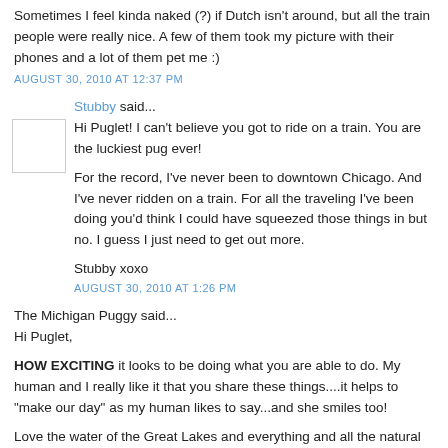Sometimes I feel kinda naked (?) if Dutch isn't around, but all the train people were really nice. A few of them took my picture with their phones and a lot of them pet me :)
AUGUST 30, 2010 AT 12:37 PM
Stubby said...
Hi Puglet! I can't believe you got to ride on a train. You are the luckiest pug ever!
For the record, I've never been to downtown Chicago. And I've never ridden on a train. For all the traveling I've been doing you'd think I could have squeezed those things in but no. I guess I just need to get out more.
Stubby xoxo
AUGUST 30, 2010 AT 1:26 PM
The Michigan Puggy said...
Hi Puglet,
HOW EXCITING it looks to be doing what you are able to do. My human and I really like it that you share these things....it helps to "make our day" as my human likes to say...and she smiles too!
Love the water of the Great Lakes and everything and all the natural beauty...